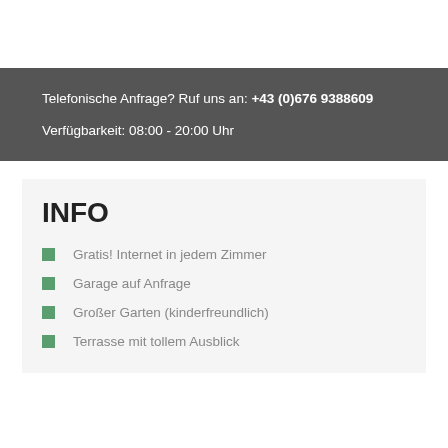Telefonische Anfrage? Ruf uns an: +43 (0)676 9388609
Verfügbarkeit: 08:00 - 20:00 Uhr
INFO
Gratis! Internet in jedem Zimmer
Garage auf Anfrage
Großer Garten (kinderfreundlich)
Terrasse mit tollem Ausblick